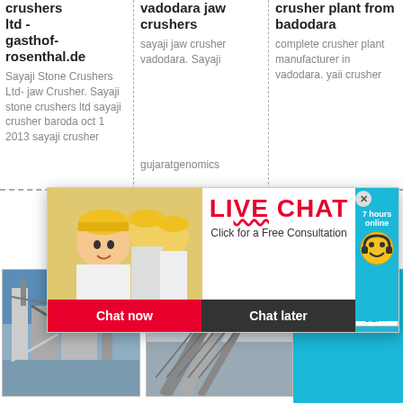crushers ltd - gasthof-rosenthal.de
Sayaji Stone Crushers Ltd- jaw Crusher. Sayaji stone crushers ltd sayaji crusher baroda oct 1 2013 sayaji crusher
vadodara jaw crushers
sayaji jaw crusher vadodara. Sayaji
gujaratgenomics
crusher plant from badodara
complete crusher plant manufacturer in vadodara. yaii crusher
[Figure (screenshot): Live Chat popup overlay with photo of woman in hard hat, LIVE CHAT red text, Click for a Free Consultation, Chat now and Chat later buttons, smiley face with headset on blue background, Click me to chat >> button]
[Figure (photo): Industrial crusher/processing plant machinery with blue sky]
[Figure (photo): Conveyor belt at mining/crushing site]
Enquiry
cywaitml@gmail.com